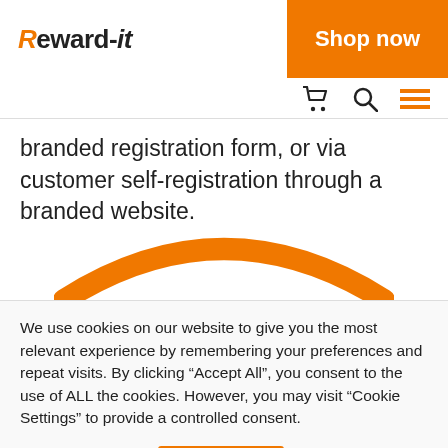Reward-it
branded registration form, or via customer self-registration through a branded website.
[Figure (illustration): Orange arch/arc decorative graphic element, partially visible at bottom of content area]
We use cookies on our website to give you the most relevant experience by remembering your preferences and repeat visits. By clicking “Accept All”, you consent to the use of ALL the cookies. However, you may visit "Cookie Settings" to provide a controlled consent.